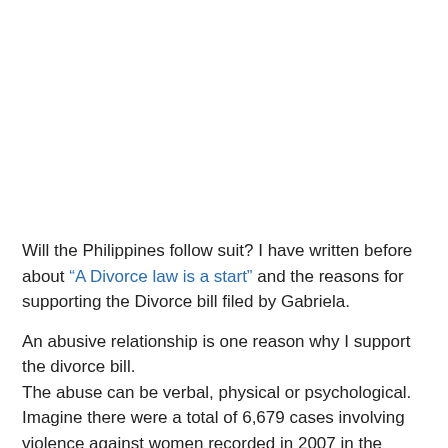Will the Philippines follow suit? I have written before about “A Divorce law is a start” and the reasons for supporting the Divorce bill filed by Gabriela.
An abusive relationship is one reason why I support the divorce bill.
The abuse can be verbal, physical or psychological. Imagine there were a total of 6,679 cases involving violence against women recorded in 2007 in the Philippines? Official figures in 2009 showed that 19 women were victims of marital violence